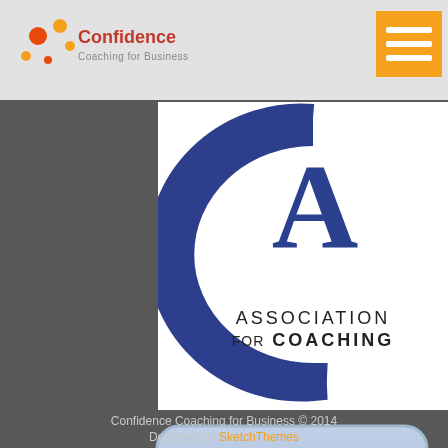[Figure (logo): Confidence Coaching for Business logo with orange/red dots]
[Figure (logo): Menu/hamburger button in orange square]
[Figure (logo): Association for Coaching logo - blue C with A letterform and text]
[Figure (logo): Member badge for International Association of Professional Life Coaches with globe, iaplifecoaches.org]
Confidence Coaching for Business © 2014
Designed by SketchThemes